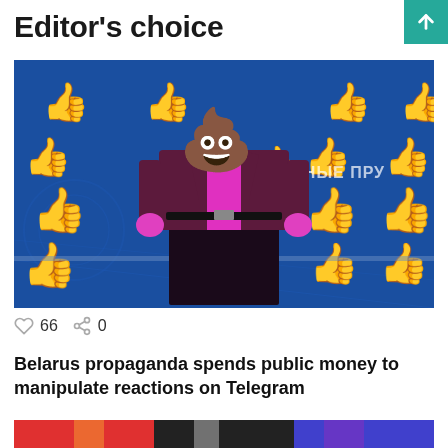Editor's choice
[Figure (photo): Man in dark maroon suit and pink shirt with a poop emoji as his head, standing in front of a bright blue background covered with yellow thumbs-up emoji icons. Cyrillic text 'ТАЙНЫЕ ПРУ' visible on the right side.]
♡ 66  < 0
Belarus propaganda spends public money to manipulate reactions on Telegram
[Figure (photo): Partial view of a colorful image at the bottom of the page]